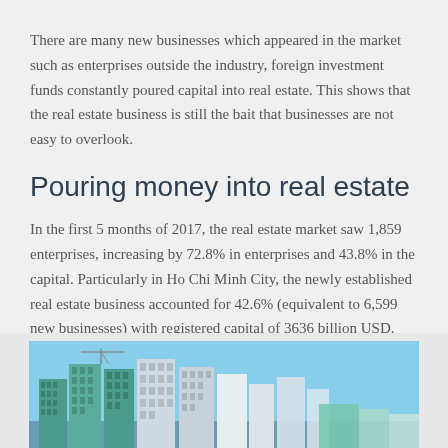There are many new businesses which appeared in the market such as enterprises outside the industry, foreign investment funds constantly poured capital into real estate. This shows that the real estate business is still the bait that businesses are not easy to overlook.
Pouring money into real estate
In the first 5 months of 2017, the real estate market saw 1,859 enterprises, increasing by 72.8% in enterprises and 43.8% in the capital. Particularly in Ho Chi Minh City, the newly established real estate business accounted for 42.6% (equivalent to 6,599 new businesses) with registered capital of 3636 billion USD. This shows that the real estate business is very attractive in the market and will continue the stability of 2016, even stronger.
[Figure (photo): Photograph of high-rise buildings under construction, showing tall residential or commercial towers with cranes, against a light blue sky. Buildings appear to be in Ho Chi Minh City, Vietnam.]